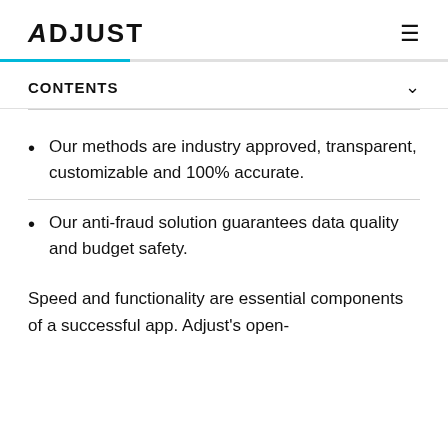ADJUST
CONTENTS
Our methods are industry approved, transparent, customizable and 100% accurate.
Our anti-fraud solution guarantees data quality and budget safety.
Speed and functionality are essential components of a successful app. Adjust's open-